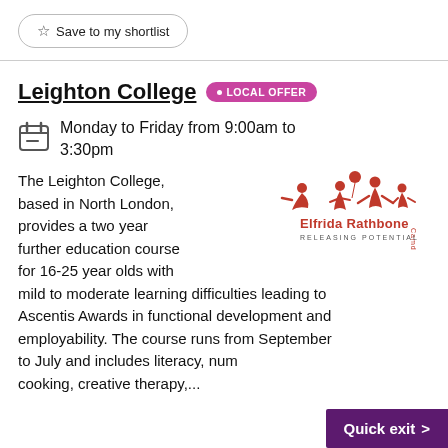Save to my shortlist
Leighton College • LOCAL OFFER
Monday to Friday from 9:00am to 3:30pm
The Leighton College, based in North London, provides a two year further education course for 16-25 year olds with mild to moderate learning difficulties leading to Ascentis Awards in functional development and employability. The course runs from September to July and includes literacy, num cooking, creative therapy,...
[Figure (logo): Elfrida Rathbone Camden - Releasing Potential logo with red silhouette figures]
Quick exit >